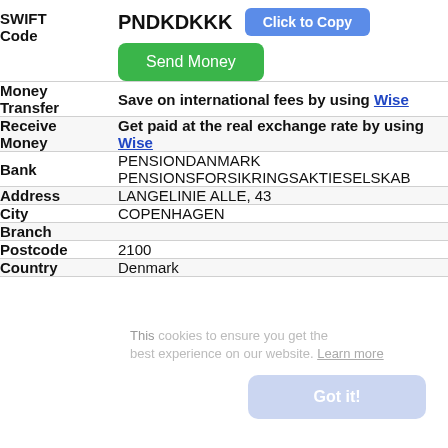| Field | Value |
| --- | --- |
| SWIFT Code | PNDKDKKK |
| Money Transfer | Save on international fees by using Wise |
| Receive Money | Get paid at the real exchange rate by using Wise |
| Bank | PENSIONDANMARK PENSIONSFORSIKRINGSAKTIESELSKAB |
| Address | LANGELINIE ALLE, 43 |
| City | COPENHAGEN |
| Branch |  |
| Postcode | 2100 |
| Country | Denmark |